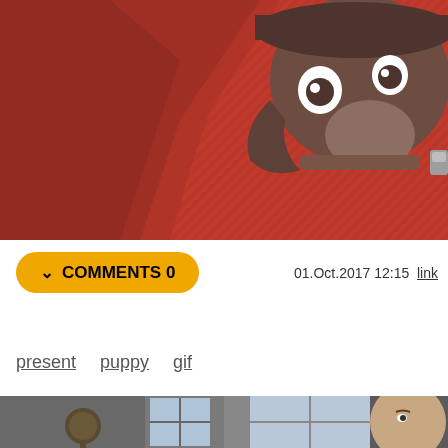[Figure (illustration): Top portion of an anime/cartoon style illustration showing a dark brown animal character (possibly a bear or dog) with a hat, on a reddish background]
v COMMENTS 0    01.Oct.2017 12:15  link
[Figure (illustration): Small avatar image showing text 'oh look you're so ugly- you scared my icon away!']
Ali Heibi
present  puppy  gif
[Figure (photo): Bottom photo showing two panels: left panel with a microphone and room with window, right panel showing a person's face partially visible near a window]